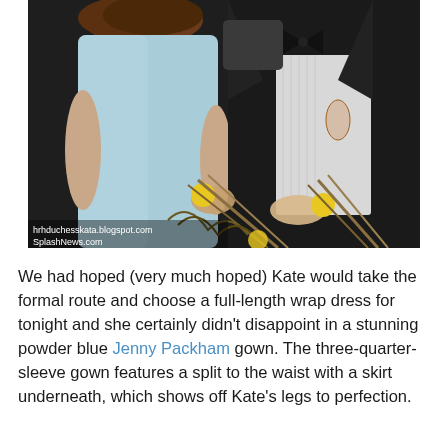[Figure (photo): Photo of a woman in a powder blue dress and a man in a black tuxedo, both handling decorative stalks at what appears to be a formal event. Watermarks read 'hrhduchesskate.blogspot.com' and 'SplashNews.com'.]
We had hoped (very much hoped) Kate would take the formal route and choose a full-length wrap dress for tonight and she certainly didn't disappoint in a stunning powder blue Jenny Packham gown. The three-quarter-sleeve gown features a split to the waist with a skirt underneath, which shows off Kate's legs to perfection.